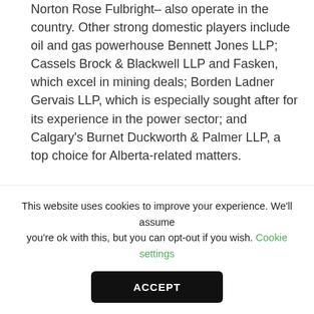Norton Rose Fulbright– also operate in the country. Other strong domestic players include oil and gas powerhouse Bennett Jones LLP; Cassels Brock & Blackwell LLP and Fasken, which excel in mining deals; Borden Ladner Gervais LLP, which is especially sought after for its experience in the power sector; and Calgary's Burnet Duckworth & Palmer LLP, a top choice for Alberta-related matters.
Soumettre un dossier de candidature ou de mise à jour
This website uses cookies to improve your experience. We'll assume you're ok with this, but you can opt-out if you wish. Cookie settings